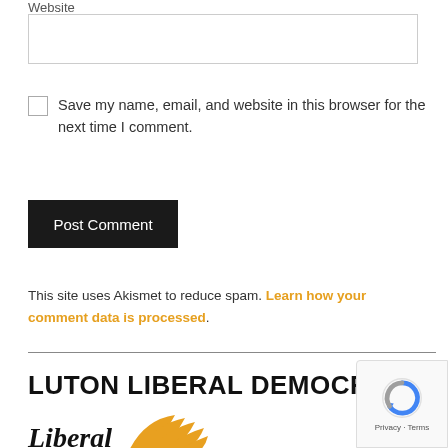Website
Save my name, email, and website in this browser for the next time I comment.
Post Comment
This site uses Akismet to reduce spam. Learn how your comment data is processed.
LUTON LIBERAL DEMOCRATS
[Figure (logo): Liberal Democrats party logo with bird wing icon in yellow/orange and 'Liberal' text in bold italic]